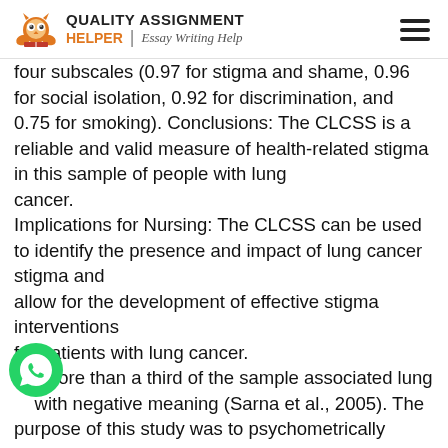QUALITY ASSIGNMENT HELPER | Essay Writing Help
four subscales (0.97 for stigma and shame, 0.96 for social isolation, 0.92 for discrimination, and 0.75 for smoking). Conclusions: The CLCSS is a reliable and valid measure of health-related stigma in this sample of people with lung cancer. Implications for Nursing: The CLCSS can be used to identify the presence and impact of lung cancer stigma and allow for the development of effective stigma interventions for patients with lung cancer. a…more than a third of the sample associated lung …with negative meaning (Sarna et al., 2005). The purpose of this study was to psychometrically develop